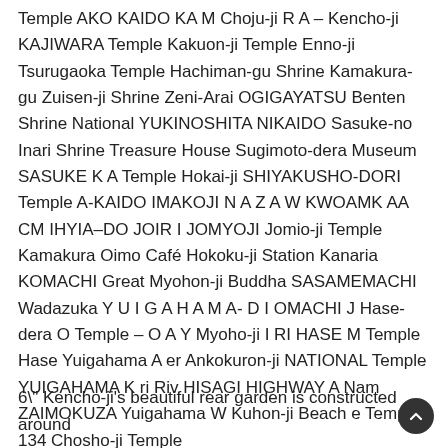Temple AKO KAIDO KA M Choju-ji R A – Kencho-ji KAJIWARA Temple Kakuon-ji Temple Enno-ji Tsurugaoka Temple Hachiman-gu Shrine Kamakura-gu Zuisen-ji Shrine Zeni-Arai OGIGAYATSU Benten Shrine National YUKINOSHITA NIKAIDO Sasuke-no Inari Shrine Treasure House Sugimoto-dera Museum SASUKE K A Temple Hokai-ji SHIYAKUSHO-DORI Temple A-KAIDO IMAKOJI N A Z A W KWOAMK AA CM IHYIA–DO JOIR I JOMYOJI Jomio-ji Temple Kamakura Oimo Café Hokoku-ji Station Kanaria KOMACHI Great Myohon-ji Buddha SASAMEMACHI Wadazuka Y U I G A H A M A- D I OMACHI J Hase-dera O Temple – O A Y Myoho-ji I RI HASE M Temple Hase Yuigahama A er Ankokuron-ji NATIONAL Temple YUIGAHAMA K ri Riv HISAGI HIGHWAY A Nam ZAIMOKUZA Yuigahama W Kuhon-ji Beach e Temple 134 Chosho-ji Temple
6" Kencho-ji's beautiful rear garden is constructed around